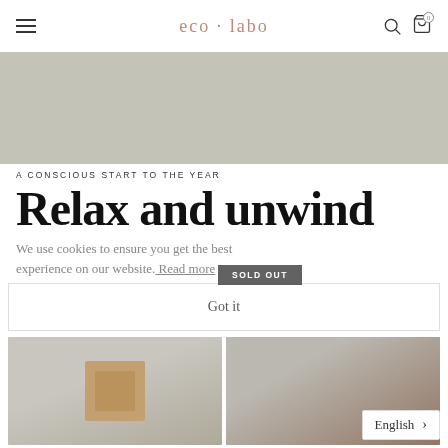eco·labo
[Figure (photo): Hero banner image area — light grey-green background placeholder/banner strip]
A CONSCIOUS START TO THE YEAR
Relax and unwind
We use cookies to ensure you get the best experience on our website. Read more
SOLD OUT
Got it
[Figure (photo): Product photos — yoga block and chocolate/food product on left; dark packaged product on right]
English